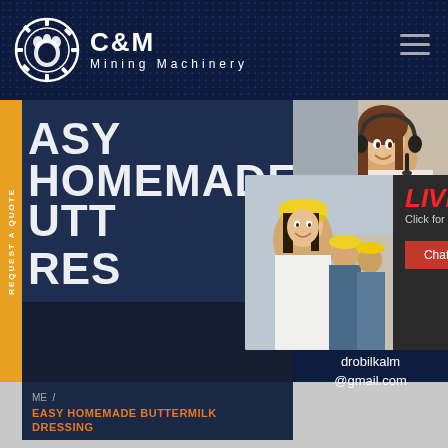[Figure (screenshot): C&M Mining Machinery website screenshot showing header with logo, hero section with text 'EASY HOMEMADE BUTTERMILK DRESSING', live chat popup overlay, right-side support panel with customer service photo, quotation and enquiry buttons, and email address drobilkalm@gmail.com]
C&M Mining Machinery
EASY HOMEMADE BUTTERMILK DRESSING
LIVE CHAT - Click for a Free Consultation
Chat now | Chat later
REQUEST A QUOTE
ME / EASY HOMEMADE BUTTERMILK DRESSING
ave any requests, ick here.
Quotation
Enquiry
drobilkalm@gmail.com